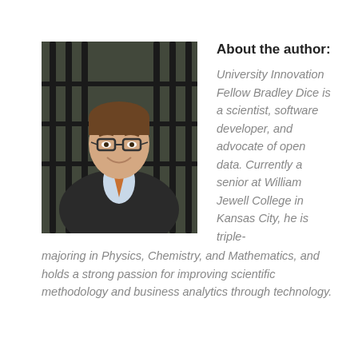[Figure (photo): Portrait photo of Bradley Dice, a young man with glasses, brown hair, wearing a dark suit jacket, light blue shirt, and orange/blue striped tie, standing in front of a black iron gate with greenery in the background.]
About the author:
University Innovation Fellow Bradley Dice is a scientist, software developer, and advocate of open data. Currently a senior at William Jewell College in Kansas City, he is triple-majoring in Physics, Chemistry, and Mathematics, and holds a strong passion for improving scientific methodology and business analytics through technology.